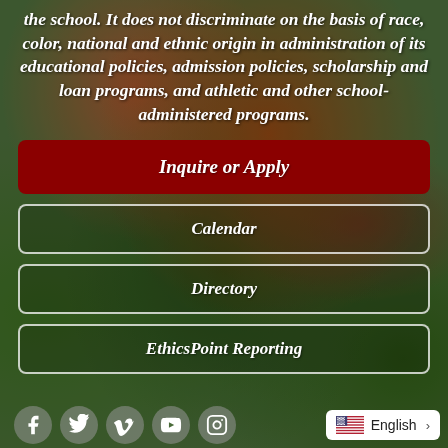the school. It does not discriminate on the basis of race, color, national and ethnic origin in administration of its educational policies, admission policies, scholarship and loan programs, and athletic and other school-administered programs.
Inquire or Apply
Calendar
Directory
EthicsPoint Reporting
[Figure (infographic): Row of social media icons (Facebook, Twitter, Vimeo, YouTube, Instagram) and an English language selector button with US flag]